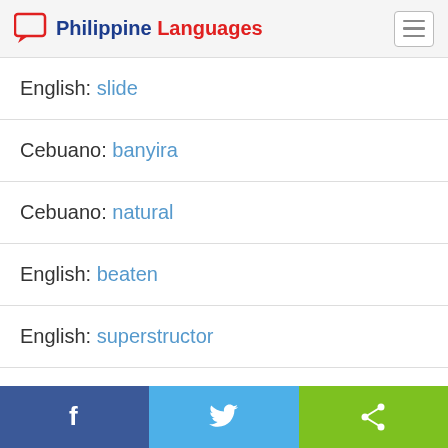Philippine Languages
English: slide
Cebuano: banyira
Cebuano: natural
English: beaten
English: superstructor
Hiligaynon: tikondong
Facebook | Twitter | Share